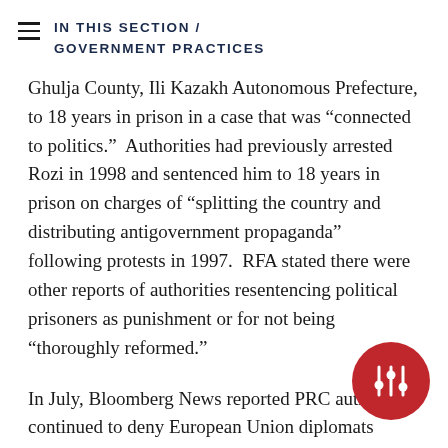IN THIS SECTION / GOVERNMENT PRACTICES
Ghulja County, Ili Kazakh Autonomous Prefecture, to 18 years in prison in a case that was “connected to politics.”  Authorities had previously arrested Rozi in 1998 and sentenced him to 18 years in prison on charges of “splitting the country and distributing antigovernment propaganda” following protests in 1997.  RFA stated there were other reports of authorities resentencing political prisoners as punishment or for not being “thoroughly reformed.”
In July, Bloomberg News reported PRC authorities continued to deny European Union diplomats access to Xinjiang on the grounds that the diplomats wanted to meet with Uyghur economist Ilham Tohti, whom